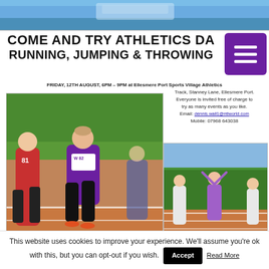[Figure (photo): Top banner photo of athletics track/sports facility with photo credit © Jon Tipping]
COME AND TRY ATHLETICS DAY
RUNNING, JUMPING & THROWING
FRIDAY, 12TH AUGUST, 6PM – 9PM at Ellesmere Port Sports Village Athletics Track, Stanney Lane, Ellesmere Port. Everyone is invited free of charge to try as many events as you like. Email: dennis.wall1@ntlworld.com Mobile: 07968 643038
[Figure (photo): Female athlete running on red athletics track, wearing purple vest number W 82]
[Figure (photo): Athletes on red athletics track with green fence in background]
[Figure (photo): Bottom strip of three outdoor athletics/park photos showing trees and track]
This website uses cookies to improve your experience. We'll assume you're ok with this, but you can opt-out if you wish.
Accept
Read More